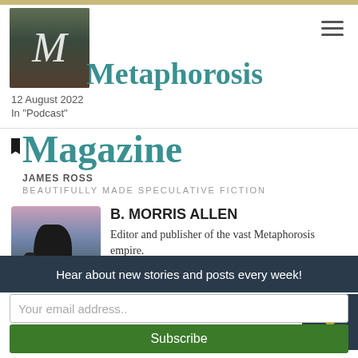Metaphorosis
12 August 2022
In "Podcast"
Magazine
JAMES ROSS
BEAUTIFULLY MADE SPECULATIVE FICTION
[Figure (photo): Coastal rock formation silhouette against a pink and purple sunset sky, with water reflection below]
B. MORRIS ALLEN
Editor and publisher of the vast Metaphorosis empire.
View all posts by B. Morris Allen
Hear about new stories and posts every week!
Your email address..
Subscribe